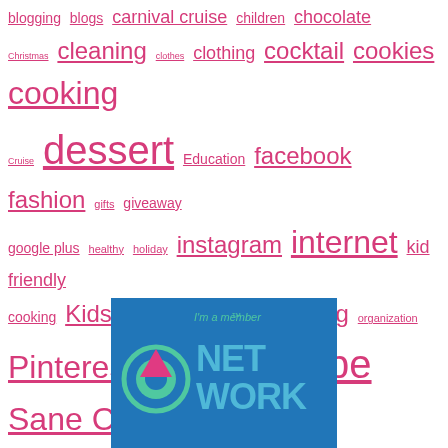blogging blogs carnival cruise children chocolate Christmas cleaning clothes clothing cocktail cookies cooking Cruise dessert Education facebook fashion gifts giveaway google plus healthy holiday instagram internet kid friendly cooking Kids Midweek Meandering organization Pinterest pumpkin reading recipe Sane Cooking school shopping sponsored Travel twitter vacation Valentine's Day websites
[Figure (logo): Blue badge/logo reading 'I'm a member of NET WORK NICHE' with a circular icon featuring a pink triangle and teal circle]